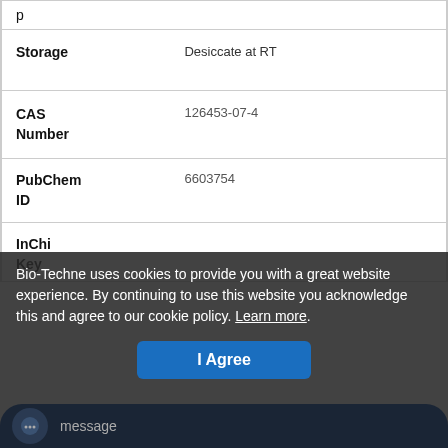| p |  |
| Storage | Desiccate at RT |
| CAS Number | 126453-07-4 |
| PubChem ID | 6603754 |
| InChi Key |  |
Bio-Techne uses cookies to provide you with a great website experience. By continuing to use this website you acknowledge this and agree to our cookie policy. Learn more.